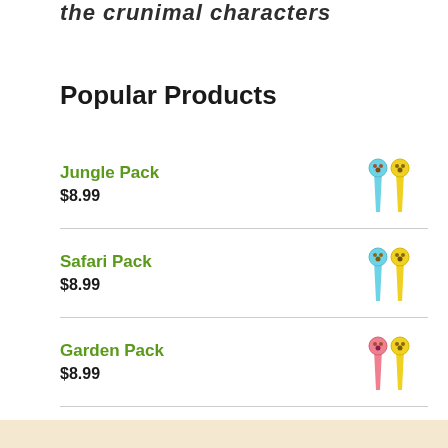the crunimal characters
Popular Products
Jungle Pack
$8.99
Safari Pack
$8.99
Garden Pack
$8.99
Game Pack
$8.99